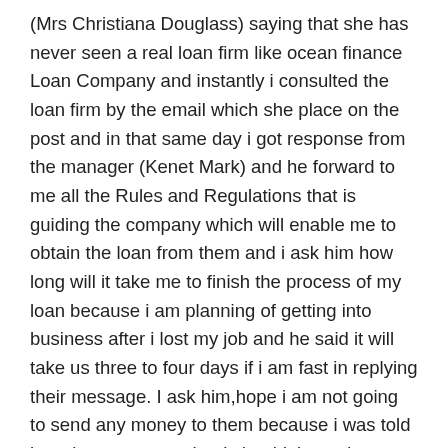(Mrs Christiana Douglass) saying that she has never seen a real loan firm like ocean finance Loan Company and instantly i consulted the loan firm by the email which she place on the post and in that same day i got response from the manager (Kenet Mark) and he forward to me all the Rules and Regulations that is guiding the company which will enable me to obtain the loan from them and i ask him how long will it take me to finish the process of my loan because i am planning of getting into business after i lost my job and he said it will take us three to four days if i am fast in replying their message. I ask him,hope i am not going to send any money to them because i was told here in my country that i shouldn't send any money in getting a loan and he replied by saying that it surprise him when i said that because their is no loan firm online who will render service to a loan seeker without